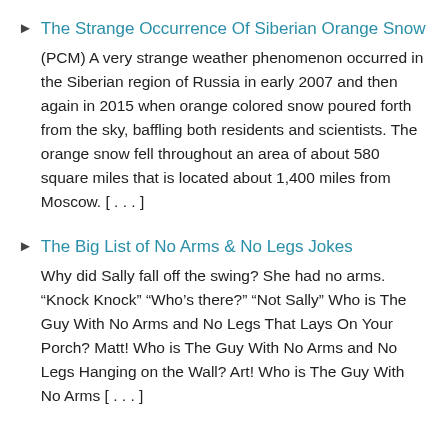The Strange Occurrence Of Siberian Orange Snow — (PCM) A very strange weather phenomenon occurred in the Siberian region of Russia in early 2007 and then again in 2015 when orange colored snow poured forth from the sky, baffling both residents and scientists. The orange snow fell throughout an area of about 580 square miles that is located about 1,400 miles from Moscow. [...]
The Big List of No Arms & No Legs Jokes — Why did Sally fall off the swing? She had no arms. "Knock Knock" "Who's there?" "Not Sally" Who is The Guy With No Arms and No Legs That Lays On Your Porch? Matt! Who is The Guy With No Arms and No Legs Hanging on the Wall? Art! Who is The Guy With No Arms [...]